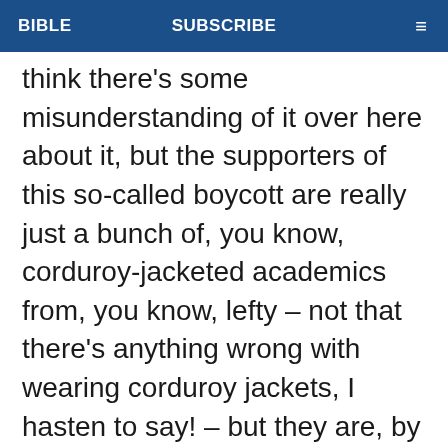BIBLE   SUBSCRIBE   ≡
think there's some misunderstanding of it over here about it, but the supporters of this so-called boycott are really just a bunch of, you know, corduroy-jacketed academics from, you know, lefty – not that there's anything wrong with wearing corduroy jackets, I hasten to say! – but they are, by and large, lefty academics who have no real standing in the matter and I think are highly unlikely to be